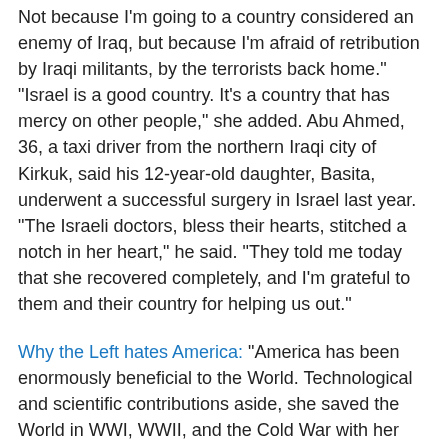Not because I'm going to a country considered an enemy of Iraq, but because I'm afraid of retribution by Iraqi militants, by the terrorists back home." "Israel is a good country. It's a country that has mercy on other people," she added. Abu Ahmed, 36, a taxi driver from the northern Iraqi city of Kirkuk, said his 12-year-old daughter, Basita, underwent a successful surgery in Israel last year. "The Israeli doctors, bless their hearts, stitched a notch in her heart," he said. "They told me today that she recovered completely, and I'm grateful to them and their country for helping us out."
Why the Left hates America: "America has been enormously beneficial to the World. Technological and scientific contributions aside, she saved the World in WWI, WWII, and the Cold War with her own blood, stamina, resolve, convictions and material resources. One of the results was the effective democratization of Germany, Italy and Japan, the three bestial aggressors of WWII. Another result was the effective containing worldwide of Soviet Expansionism and the collapse of the Soviet Empire, along with the democratization of Eastern Europe. In a period of about ten years, America had liberated diminutive Grenada and little Panama, stopped pro-Soviet communist expansionism in...